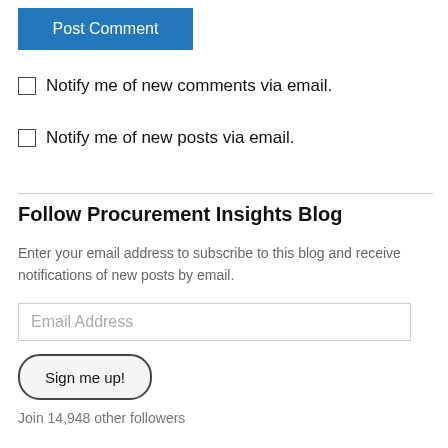[Figure (screenshot): Blue 'Post Comment' button]
Notify me of new comments via email.
Notify me of new posts via email.
Follow Procurement Insights Blog
Enter your email address to subscribe to this blog and receive notifications of new posts by email.
Email Address
Sign me up!
Join 14,948 other followers